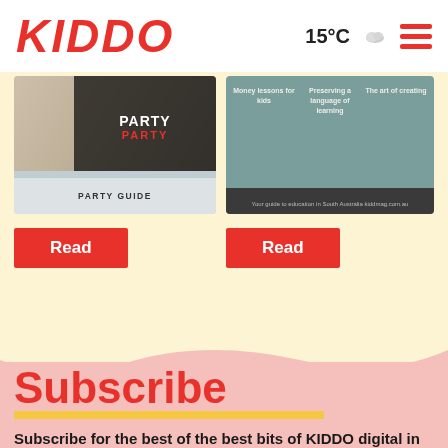KIDDO  15°C  ☁  ≡
[Figure (screenshot): Magazine cover card 1: Party party guide with image of balloons and shoes, dark overlay with text PARTY PARTY, subtitle PARTY GUIDE]
[Figure (screenshot): Magazine cover card 2: Education guide with columns: Money lessons for kids, Preserving a language of learning, The art of creating. Footer: Your guide to education in South Australia kiddmag.com.au]
Read
Read
Subscribe
Subscribe for the best of the best bits of KIDDO digital in your inbox once a week.
Name